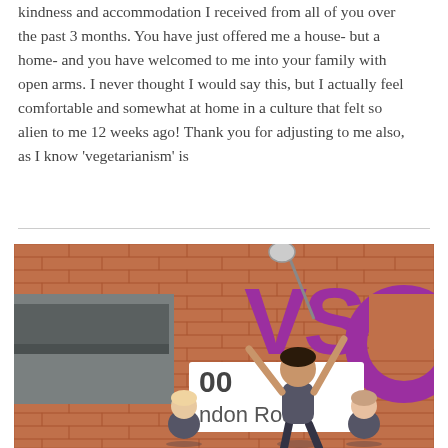kindness and accommodation I received from all of you over the past 3 months. You have just offered me a house- but a home- and you have welcomed to me into your family with open arms. I never thought I would say this, but I actually feel comfortable and somewhat at home in a culture that felt so alien to me 12 weeks ago! Thank you for adjusting to me also, as I know 'vegetarianism' is
[Figure (photo): A group of young women posing joyfully in front of a VSO (Voluntary Service Overseas) brick building. A large purple VSO logo is mounted on the brick wall. A sign reading '100 London Road' is partially visible. One woman stands with arms raised, others are crouching around her. One person is taking a selfie with a selfie stick.]